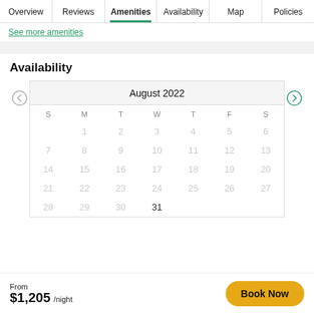Overview | Reviews | Amenities | Availability | Map | Policies
See more amenities
Availability
[Figure (other): Calendar showing August 2022 with all dates grayed out (unavailable). Days of week: S M T W T F S. Dates 1-31 shown. Left arrow (previous) and right arrow (next) navigation buttons.]
From $1,205 /night
Book Now